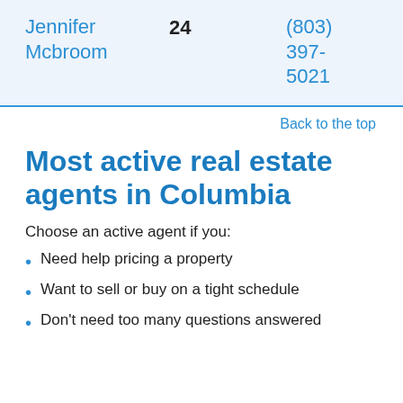| Name | Count | Phone |
| --- | --- | --- |
| Jennifer Mcbroom | 24 | (803) 397-5021 |
Back to the top
Most active real estate agents in Columbia
Choose an active agent if you:
Need help pricing a property
Want to sell or buy on a tight schedule
Don't need too many questions answered